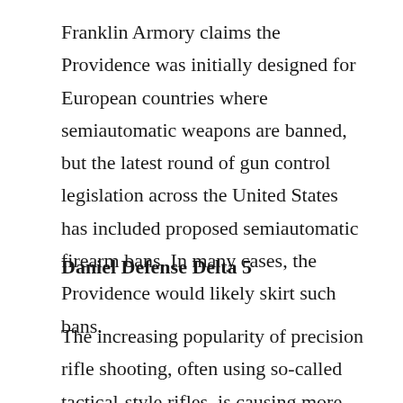Franklin Armory claims the Providence was initially designed for European countries where semiautomatic weapons are banned, but the latest round of gun control legislation across the United States has included proposed semiautomatic firearm bans. In many cases, the Providence would likely skirt such bans.
Daniel Defense Delta 5
The increasing popularity of precision rifle shooting, often using so-called tactical-style rifles, is causing more firearm manufacturers to